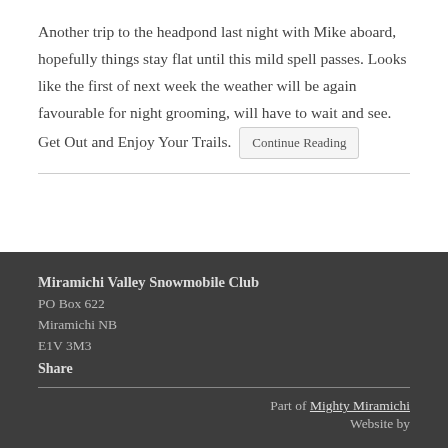Another trip to the headpond last night with Mike aboard, hopefully things stay flat until this mild spell passes. Looks like the first of next week the weather will be again favourable for night grooming, will have to wait and see. Get Out and Enjoy Your Trails. Continue Reading
Miramichi Valley Snowmobile Club
PO Box 622
Miramichi NB
E1V 3M3
Share
Part of Mighty Miramichi
Website by